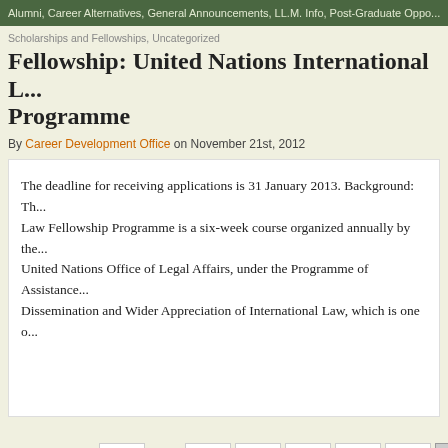Alumni, Career Alternatives, General Announcements, LL.M. Info, Post-Graduate Oppo...
Scholarships and Fellowships, Uncategorized
Fellowship: United Nations International L... Programme
By Career Development Office on November 21st, 2012
The deadline for receiving applications is 31 January 2013. Background: Th... Law Fellowship Programme is a six-week course organized annually by the... United Nations Office of Legal Affairs, under the Programme of Assistance... Dissemination and Wider Appreciation of International Law, which is one o...
Page 29 of 47  « First  ...  10  20  «  27  28  29  30
Powered by WordPress and the PressPlay Theme